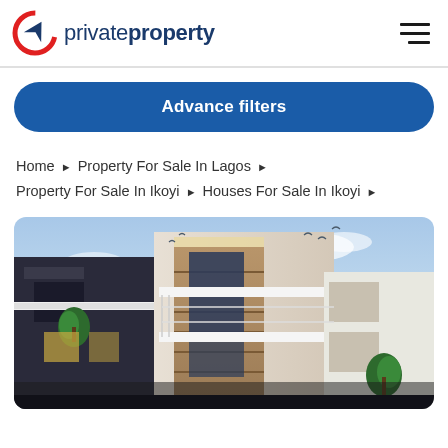privateproperty
Advance filters
Home ▶ Property For Sale In Lagos ▶ Property For Sale In Ikoyi ▶ Houses For Sale In Ikoyi ▶
[Figure (photo): Exterior photograph of a modern multi-storey residential house in Ikoyi, Lagos, with white and wood-panel facade, balconies, large windows, and tropical plants, photographed at dusk/twilight.]